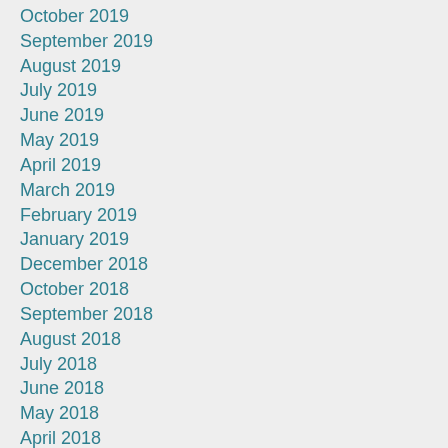October 2019
September 2019
August 2019
July 2019
June 2019
May 2019
April 2019
March 2019
February 2019
January 2019
December 2018
October 2018
September 2018
August 2018
July 2018
June 2018
May 2018
April 2018
March 2018
February 2018
January 2018
December 2017